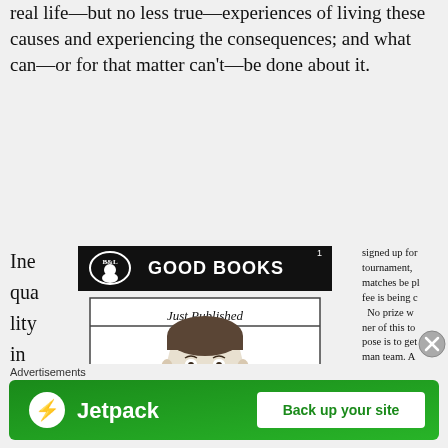real life—but no less true—experiences of living these causes and experiencing the consequences; and what can—or for that matter can't—be done about it.
Ine
qua
lity
in
ear
nin
gs
and
inc
[Figure (photo): Newspaper advertisement. Top banner: B&L Good Books logo with oval emblem. Bottom section: bordered box with title 'Just Published' and a portrait illustration of a man in suit.]
signed up for tournament, matches be pl fee is being c No prize w ner of this to pose is to get man team. A consult the d entry of Patt as the first n Tuesday nigh LACROSSE FIR
Advertisements
[Figure (screenshot): Jetpack advertisement banner: green background with Jetpack logo (lightning bolt icon) on left, and 'Back up your site' white button on right.]